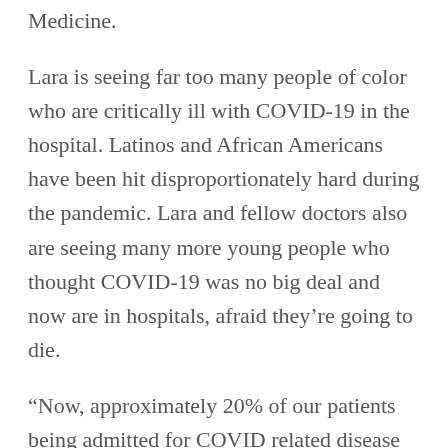Medicine.
Lara is seeing far too many people of color who are critically ill with COVID-19 in the hospital. Latinos and African Americans have been hit disproportionately hard during the pandemic. Lara and fellow doctors also are seeing many more young people who thought COVID-19 was no big deal and now are in hospitals, afraid they're going to die.
“Now, approximately 20% of our patients being admitted for COVID related disease are in the 20-to-29 age group. That’s a higher percentage than what we saw during the first surge and that’s very concerning,” Lara said.
She also has specialized...